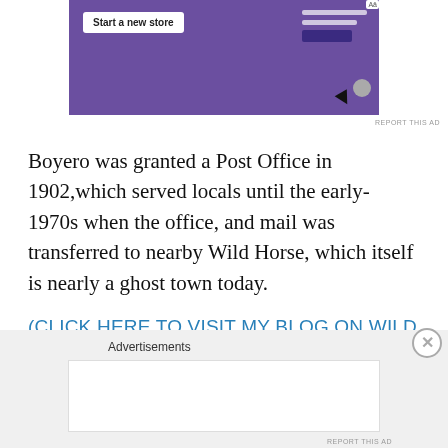[Figure (screenshot): Advertisement banner showing a purple background with a 'Start a new store' button and UI mockup elements with a cursor arrow. 'REPORT THIS AD' text in small gray letters at bottom right.]
Boyero was granted a Post Office in 1902,which served locals until the early-1970s when the office, and mail was transferred to nearby Wild Horse, which itself is nearly a ghost town today.
(CLICK HERE TO VISIT MY BLOG ON WILD HORSE)
Advertisements
[Figure (other): Bottom advertisement placeholder box on gray background with close (X) button and 'REPORT THIS AD' text.]